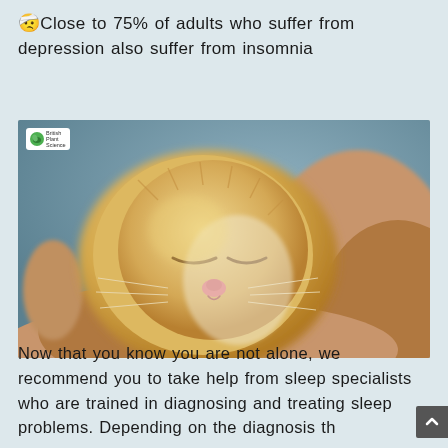🤕Close to 75% of adults who suffer from depression also suffer from insomnia
[Figure (photo): A newborn orange/ginger kitten sleeping peacefully in a person's hand, eyes closed, with a small pink nose visible. The image is close-up and slightly blurred in the background. A small white 'British Plant Science' logo badge appears in the top-left corner of the image.]
Now that you know you are not alone, we recommend you to take help from sleep specialists who are trained in diagnosing and treating sleep problems. Depending on the diagnosis th